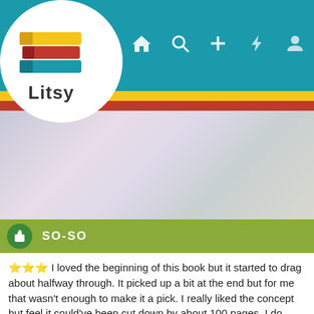[Figure (screenshot): Litsy app logo with colorful stacked books icon and the word Litsy below]
[Figure (screenshot): Navigation bar with home, search, plus, lightning/activity, and profile icons on teal background]
[Figure (screenshot): Blurred/gradient book cover image area]
SO-SO
⭐⭐⭐ I loved the beginning of this book but it started to drag about halfway through. It picked up a bit at the end but for me that wasn't enough to make it a pick. I really liked the concept but feel it could've been cut down by about 100 pages. I do recommend her book We're All Completely Beside Ourselves - it's very good. Don't read descriptions before reading that though - it's so much better that way. Trust me!